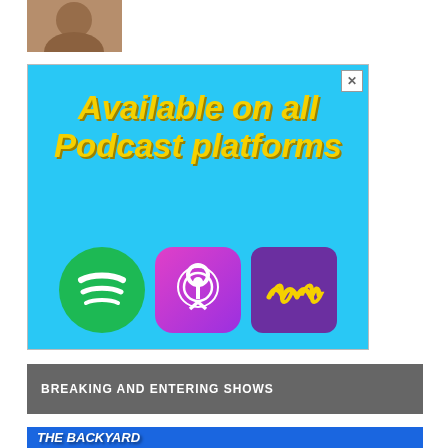[Figure (photo): Small profile photo of a person in top-left corner]
[Figure (infographic): Advertisement banner with cyan/light blue background reading 'Available on all Podcast platforms' in yellow italic bold text, with Spotify (green circle), Apple Podcasts (pink/purple rounded square), and Anchor (purple square) platform icons below. Has an X close button in top right corner.]
BREAKING AND ENTERING SHOWS
[Figure (infographic): Blue banner for 'The Backyard Bay View' show with Breaking and Entering Milwaukee logo]